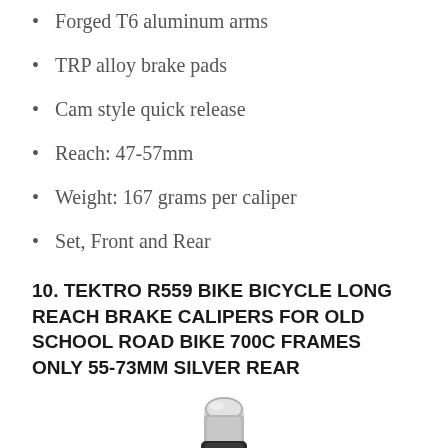Forged T6 aluminum arms
TRP alloy brake pads
Cam style quick release
Reach: 47-57mm
Weight: 167 grams per caliper
Set, Front and Rear
10. TEKTRO R559 BIKE BICYCLE LONG REACH BRAKE CALIPERS FOR OLD SCHOOL ROAD BIKE 700C FRAMES ONLY 55-73MM SILVER REAR
[Figure (photo): Partial photo of a silver bicycle brake caliper component at the bottom of the page]